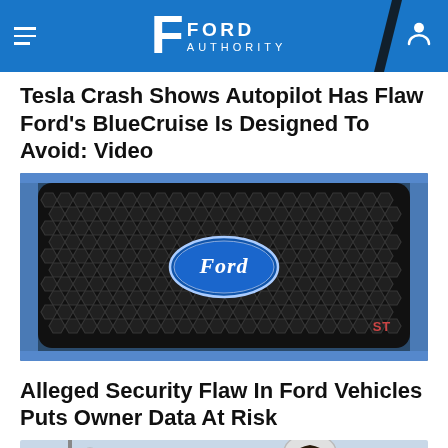Ford Authority
Tesla Crash Shows Autopilot Has Flaw Ford's BlueCruise Is Designed To Avoid: Video
[Figure (photo): Close-up of a Ford vehicle front grille with Ford oval logo and ST badge on a black hexagonal mesh grille, blue car body visible at edges]
Alleged Security Flaw In Ford Vehicles Puts Owner Data At Risk
[Figure (photo): Partial image showing a street lamp on the left and a smiling person wearing a helmet on the right, with a cityscape background]